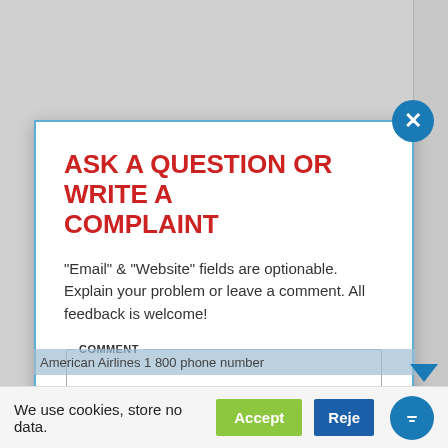ASK A QUESTION OR WRITE A COMPLAINT
"Email" & "Website" fields are optionable. Explain your problem or leave a comment. All feedback is welcome!
[Figure (screenshot): Web form modal with COMMENT textarea, NAME text field, and partially visible EMAIL label. Close button (X) in top-right corner of modal. Bottom bar shows 'American Airlines 1 800 phone number' link. Cookie consent bar at bottom with Accept and Reject buttons. Blue chat bubble in bottom-right corner.]